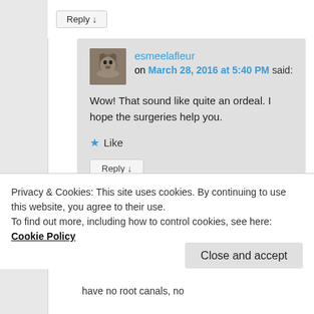Reply ↓
[Figure (photo): Avatar photo of a dog (German Shepherd) used as commenter profile picture for esmeelafleur]
esmeelafleur on March 28, 2016 at 5:40 PM said:
Wow! That sound like quite an ordeal. I hope the surgeries help you.
★ Like
Reply ↓
Privacy & Cookies: This site uses cookies. By continuing to use this website, you agree to their use.
To find out more, including how to control cookies, see here: Cookie Policy
Close and accept
have no root canals, no